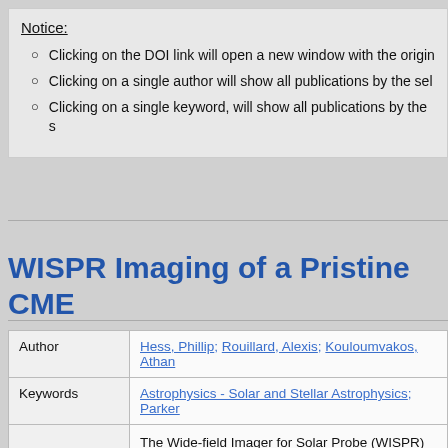Notice:
Clicking on the DOI link will open a new window with the origin
Clicking on a single author will show all publications by the sel
Clicking on a single keyword, will show all publications by the s
WISPR Imaging of a Pristine CME
|  |  |
| --- | --- |
| Author | Hess, Phillip; Rouillard, Alexis; Kouloumvakos, Athan |
| Keywords | Astrophysics - Solar and Stellar Astrophysics; Parker |
|  | The Wide-field Imager for Solar Probe (WISPR) on b... of the initial PSP encounter. The speed of the CME, a... was also observed by the Large Angle and Spectro... |